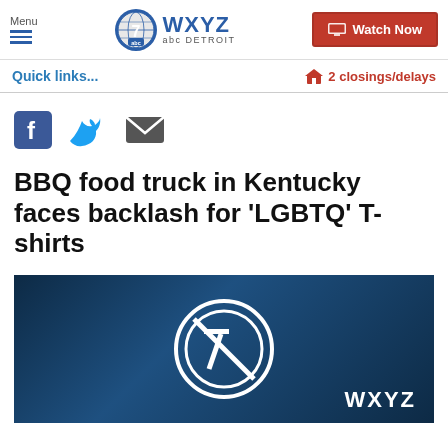Menu | WXYZ abc DETROIT | Watch Now
Quick links...
2 closings/delays
[Figure (illustration): Social sharing icons: Facebook, Twitter, Email]
BBQ food truck in Kentucky faces backlash for 'LGBTQ' T-shirts
[Figure (screenshot): WXYZ Detroit news video thumbnail with logo on dark blue background]